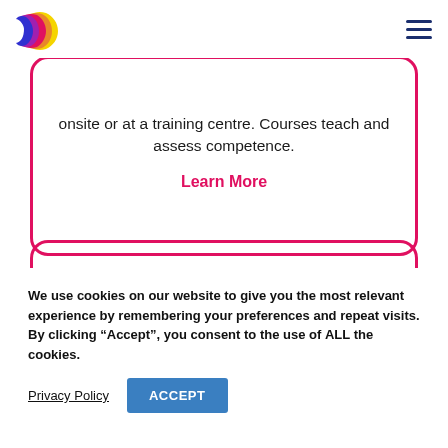onsite or at a training centre. Courses teach and assess competence.
Learn More
We use cookies on our website to give you the most relevant experience by remembering your preferences and repeat visits. By clicking “Accept”, you consent to the use of ALL the cookies.
Privacy Policy
ACCEPT